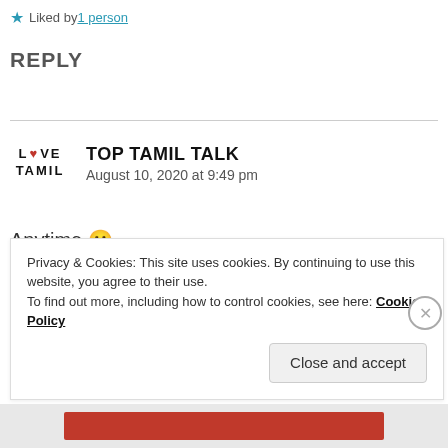★ Liked by 1 person
REPLY
TOP TAMIL TALK
August 10, 2020 at 9:49 pm
Anytime 🙂
★ Liked by 1 person
Privacy & Cookies: This site uses cookies. By continuing to use this website, you agree to their use.
To find out more, including how to control cookies, see here: Cookie Policy
Close and accept